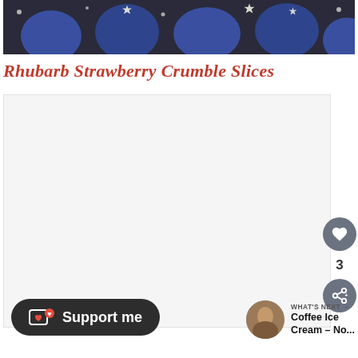[Figure (photo): Top portion of a food photo showing blue/purple chocolate confections with white star-shaped decorations on a dark background]
Rhubarb Strawberry Crumble Slices
[Figure (photo): Large white/light grey placeholder area for a recipe photo - Rhubarb Strawberry Crumble Slices]
3
Support me
WHAT'S NEXT → Coffee Ice Cream – No...